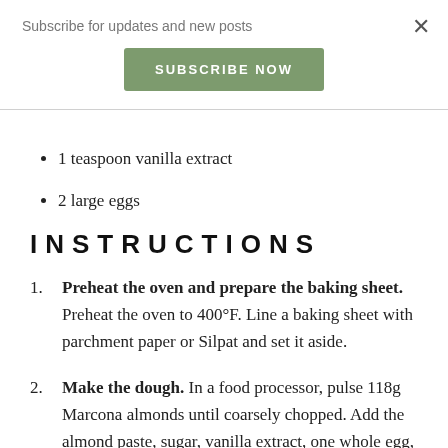Subscribe for updates and new posts
SUBSCRIBE NOW
1 teaspoon vanilla extract
2 large eggs
INSTRUCTIONS
1. Preheat the oven and prepare the baking sheet. Preheat the oven to 400°F. Line a baking sheet with parchment paper or Silpat and set it aside.
2. Make the dough. In a food processor, pulse 118g Marcona almonds until coarsely chopped. Add the almond paste, sugar, vanilla extract, one whole egg, and one egg